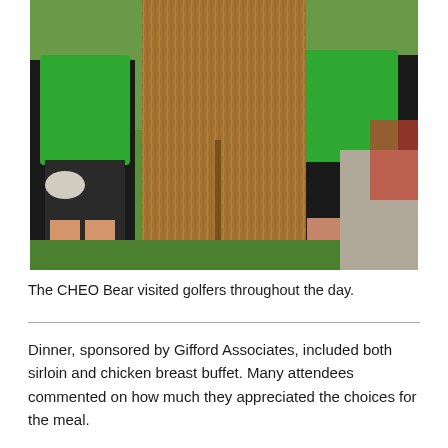[Figure (photo): Two people wearing green shirts and golf gloves standing on either side of a large brown furry bear mascot costume (CHEO Bear), outdoors on grass.]
The CHEO Bear visited golfers throughout the day.
Dinner, sponsored by Gifford Associates, included both sirloin and chicken breast buffet. Many attendees commented on how much they appreciated the choices for the meal.